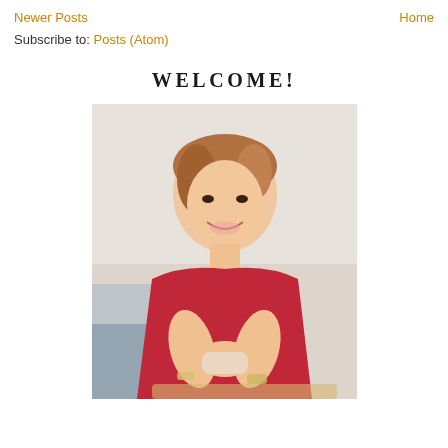Newer Posts | Home
Subscribe to: Posts (Atom)
WELCOME!
[Figure (photo): A smiling Asian woman in a red sleeveless dress, wearing a pearl necklace and a watch, holding a cup with both hands, leaning on a surface, photographed in a bright indoor setting.]